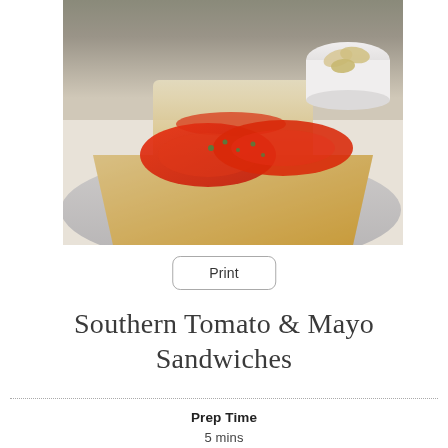[Figure (photo): Photo of an open-faced tomato and mayo sandwich on toasted white bread, placed on a gray plate, with fresh tomato slices and herb garnish on top. Another closed sandwich visible in the background, along with a white bowl of crackers.]
Print
Southern Tomato & Mayo Sandwiches
Prep Time
5 mins